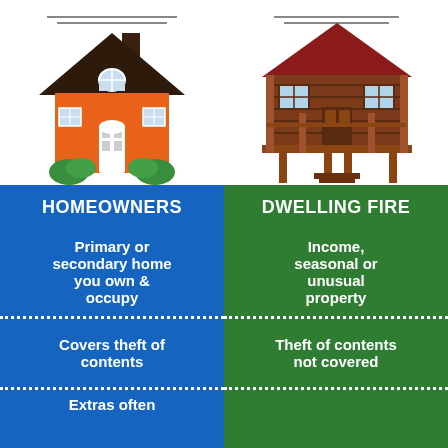[Figure (infographic): Comparison infographic: Homeowners vs Dwelling Fire insurance. Two columns with house illustrations on top. Left column (blue): HOMEOWNERS - Primary or secondary home you own & occupy / Covers theft of contents / Extras often (cut off). Right column (green): DWELLING FIRE - Income, seasonal or unusual property / Theft of contents not covered / (cut off at bottom).]
HOMEOWNERS
DWELLING FIRE
Primary or secondary home you own & occupy
Income, seasonal or unusual property
Covers theft of contents
Theft of contents not covered
Extras often